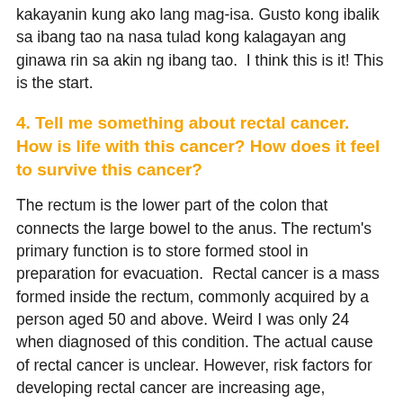kakayanin kung ako lang mag-isa. Gusto kong ibalik sa ibang tao na nasa tulad kong kalagayan ang ginawa rin sa akin ng ibang tao.  I think this is it! This is the start.
4. Tell me something about rectal cancer. How is life with this cancer? How does it feel to survive this cancer?
The rectum is the lower part of the colon that connects the large bowel to the anus. The rectum's primary function is to store formed stool in preparation for evacuation.  Rectal cancer is a mass formed inside the rectum, commonly acquired by a person aged 50 and above. Weird I was only 24 when diagnosed of this condition. The actual cause of rectal cancer is unclear. However, risk factors for developing rectal cancer are increasing age, smoking, family history of colon or rectal cancer and high-fat diet and/or a diet mostly from animal sources. Symptoms are unexplained weight loss, blood mixed with stool/rectal bleeding, the stool that may appear narrow and abdominal pain due to blockage of a large mass. Treatment would be chemotherapy, radiation